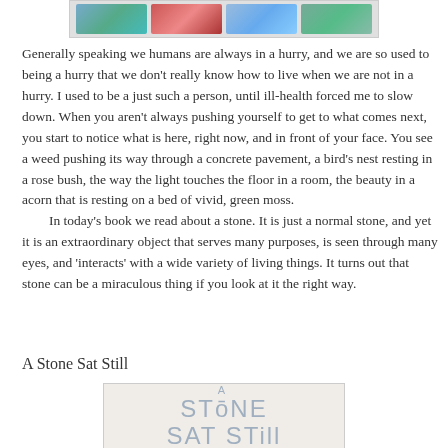[Figure (photo): Strip of four small book cover thumbnail images at the top of the page]
Generally speaking we humans are always in a hurry, and we are so used to being a hurry that we don't really know how to live when we are not in a hurry. I used to be a just such a person, until ill-health forced me to slow down. When you aren't always pushing yourself to get to what comes next, you start to notice what is here, right now, and in front of your face. You see a weed pushing its way through a concrete pavement, a bird's nest resting in a rose bush, the way the light touches the floor in a room, the beauty in a acorn that is resting on a bed of vivid, green moss.
In today's book we read about a stone. It is just a normal stone, and yet it is an extraordinary object that serves many purposes, is seen through many eyes, and 'interacts' with a wide variety of living things. It turns out that stone can be a miraculous thing if you look at it the right way.
A Stone Sat Still
[Figure (photo): Book cover of 'A Stone Sat Still' showing large stylized text in light blue-grey letters on a pale background]